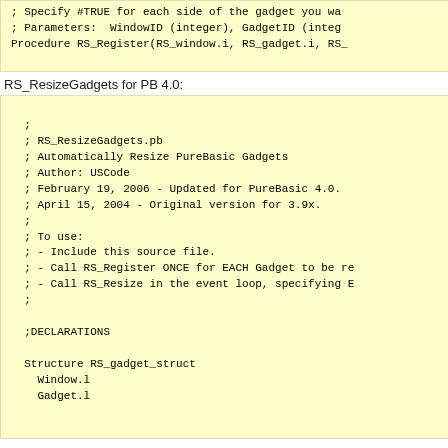; Specify #TRUE for each side of the gadget you wa
; Parameters:  WindowID (integer), GadgetID (integ
Procedure RS_Register(RS_window.i, RS_gadget.i, RS_
RS_ResizeGadgets for PB 4.0:
;
; RS_ResizeGadgets.pb
; Automatically Resize PureBasic Gadgets
; Author: USCode
; February 19, 2006 - Updated for PureBasic 4.0.
; April 15, 2004 - Original version for 3.9x.
;
; To use:
; - Include this source file.
; - Call RS_Register ONCE for EACH Gadget to be re
; - Call RS_Resize in the event loop, specifying E
;

;DECLARATIONS

Structure RS_gadget_struct
  Window.l
  Gadget.l